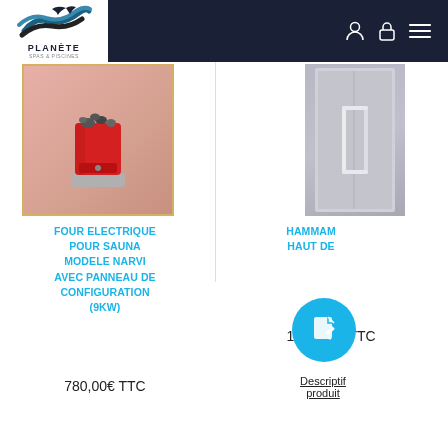Planète Spas & Piscines — Navigation bar
[Figure (photo): Red electric sauna heater (four électrique) on pink/rose background, model Narvi, with stones on top]
[Figure (photo): Silver/grey hammam door with vertical bar handles on grey background]
FOUR ELECTRIQUE POUR SAUNA MODELE NARVI AVEC PANNEAU DE CONFIGURATION (9KW)
780,00€ TTC
HAMMAM ... HAUT DE...
1068,00€ TTC
Descriptif produit